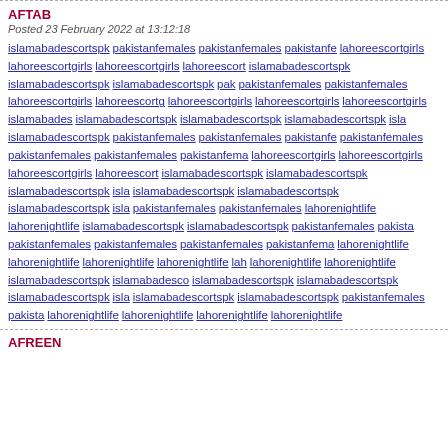AFTAB
Posted 23 February 2022 at 13:12:18
islamabadescortspk pakistanfemales pakistanfemales pakistanfemales lahoreescortgirls lahoreescortgirls lahoreescortgirls lahoreescortgirls islamabadescortspk islamabadescortspk islamabadescortspk pakistanfemales pakistanfemales lahoreescortgirls lahoreescortgirls lahoreescortgirls lahoreescortgirls lahoreescortgirls islamabadescortspk islamabadescortspk islamabadescortspk islamabadescortspk islamabadescortspk pakistanfemales pakistanfemales pakistanfemales pakistanfemales pakistanfemales pakistanfemales pakistanfemales lahoreescortgirls lahoreescortgirls lahoreescortgirls lahoreescortgirls islamabadescortspk islamabadescortspk islamabadescortspk islamabadescortspk islamabadescortspk islamabadescortspk pakistanfemales pakistanfemales lahorenightlife lahorenightlife islamabadescortspk islamabadescortspk pakistanfemales pakistanfemales pakistanfemales pakistanfemales pakistanfemales lahorenightlife lahorenightlife lahorenightlife lahorenightlife lahorenightlife lahorenightlife islamabadescortspk islamabadescortspk islamabadescortspk islamabadescortspk islamabadescortspk islamabadescortspk pakistanfemales pakistanfemales lahorenightlife lahorenightlife lahorenightlife lahorenightlife
AFREEN